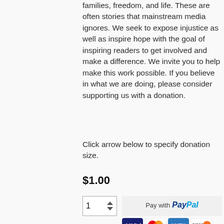families, freedom, and life. These are often stories that mainstream media ignores. We seek to expose injustice as well as inspire hope with the goal of inspiring readers to get involved and make a difference. We invite you to help make this work possible. If you believe in what we are doing, please consider supporting us with a donation.
Click arrow below to specify donation size.
$1.00
[Figure (screenshot): Donation UI with quantity selector showing '1' and a PayPal payment button with Visa, Mastercard, Amex, Discover card icons below]